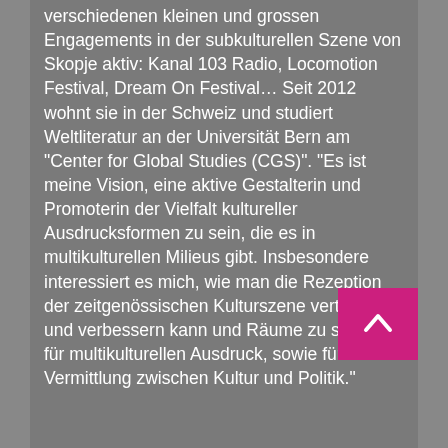verschiedenen kleinen und grossen Engagements in der subkulturellen Szene von Skopje aktiv: Kanal 103 Radio, Locomotion Festival, Dream On Festival… Seit 2012 wohnt sie in der Schweiz und studiert Weltliteratur an der Universität Bern am "Center for Global Studies (CGS)". "Es ist meine Vision, eine aktive Gestalterin und Promoterin der Vielfalt kultureller Ausdrucksformen zu sein, die es in multikulturellen Milieus gibt. Insbesondere interessiert es mich, wie man die Rezeption der zeitgenössischen Kulturszene vertiefen und verbessern kann und Räume zu schaffen für multikulturellen Ausdruck, sowie für die Vermittlung zwischen Kultur und Politik."